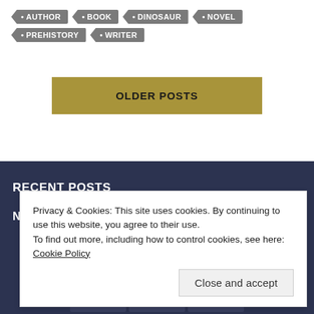• AUTHOR
• BOOK
• DINOSAUR
• NOVEL
• PREHISTORY
• WRITER
OLDER POSTS
RECENT POSTS
NEW FANTASY BATTLE
Privacy & Cookies: This site uses cookies. By continuing to use this website, you agree to their use.
To find out more, including how to control cookies, see here: Cookie Policy
Close and accept